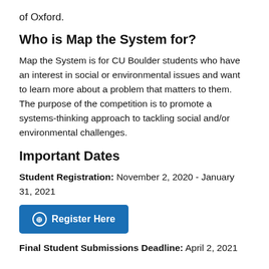of Oxford.
Who is Map the System for?
Map the System is for CU Boulder students who have an interest in social or environmental issues and want to learn more about a problem that matters to them. The purpose of the competition is to promote a systems-thinking approach to tackling social and/or environmental challenges.
Important Dates
Student Registration: November 2, 2020 - January 31, 2021
[Figure (other): Blue 'Register Here' button with a circle-arrow icon]
Final Student Submissions Deadline: April 2, 2021